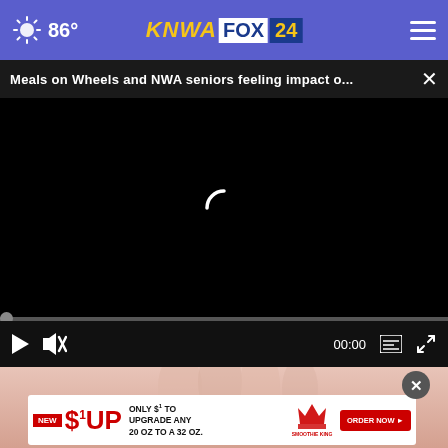86° KNWA FOX 24
Meals on Wheels and NWA seniors feeling impact o... ×
[Figure (screenshot): Video player showing black screen with loading spinner and playback controls. Progress bar at bottom, time shown as 00:00.]
[Figure (photo): Person's hand visible in lower portion behind advertisement overlay.]
[Figure (infographic): Smoothie King advertisement: NEW - $1 UP FRIDAY - ONLY $1 TO UPGRADE ANY 20 OZ TO A 32 OZ. ORDER NOW button on right.]